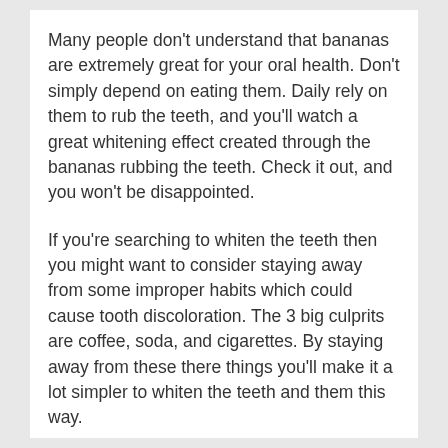Many people don't understand that bananas are extremely great for your oral health. Don't simply depend on eating them. Daily rely on them to rub the teeth, and you'll watch a great whitening effect created through the bananas rubbing the teeth. Check it out, and you won't be disappointed.
If you're searching to whiten the teeth then you might want to consider staying away from some improper habits which could cause tooth discoloration. The 3 big culprits are coffee, soda, and cigarettes. By staying away from these there things you'll make it a lot simpler to whiten the teeth and them this way.
If you are planning towards the dental professional to possess bleaching treatments, don't exaggerate it. People get excited in the results they see, so that